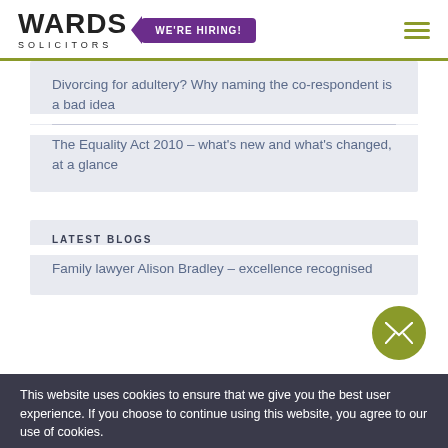WARDS SOLICITORS | WE'RE HIRING!
Divorcing for adultery? Why naming the co-respondent is a bad idea
The Equality Act 2010 – what's new and what's changed, at a glance
LATEST BLOGS
Family lawyer Alison Bradley – excellence recognised
This website uses cookies to ensure that we give you the best user experience. If you choose to continue using this website, you agree to our use of cookies.